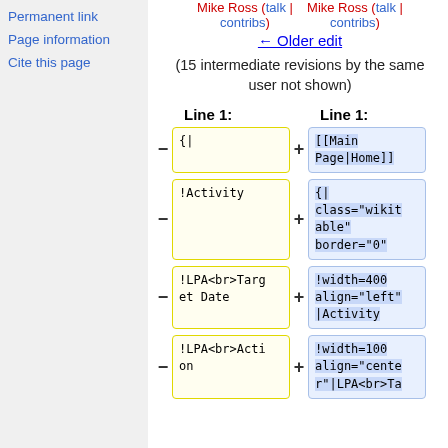Permanent link
Page information
Cite this page
Mike Ross (talk | contribs)   Mike Ross (talk | contribs)
← Older edit
(15 intermediate revisions by the same user not shown)
Line 1:   Line 1:
- {|   + [[Main Page|Home]]
- !Activity   + {| class="wikitable" border="0"
- !LPA<br>Target Date   + !width=400 align="left" |Activity
- !LPA<br>Action   + !width=100 align="center"|LPA<br>Ta